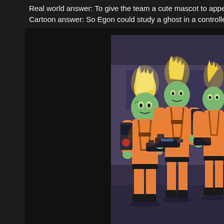Real world answer: To give the team a cute mascot to appeal to k... Cartoon answer: So Egon could study a ghost in a controlled env...
[Figure (illustration): Cartoon still from The Real Ghostbusters animated series showing three ghost characters with flaming yellow-green hair and glowing green skin wearing orange jumpsuits and holding proton pack weapons.]